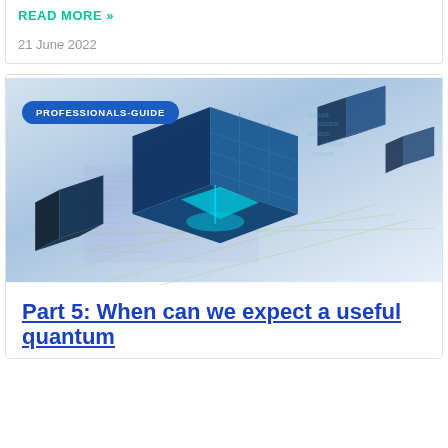READ MORE »
21 June 2022
[Figure (illustration): Abstract 3D illustration of blue glowing digital cubes floating over a light grid surface, representing quantum computing or blockchain technology. A badge reading PROFESSIONALS-GUIDE overlays the top-left.]
Part 5: When can we expect a useful quantum